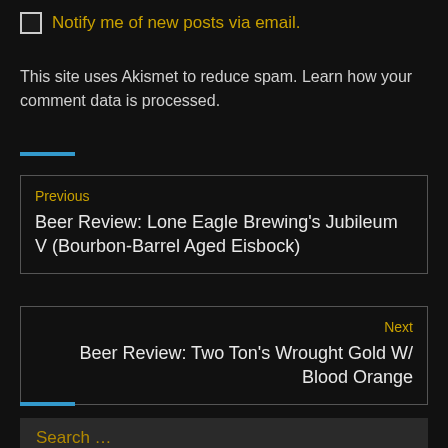Notify me of new posts via email.
This site uses Akismet to reduce spam. Learn how your comment data is processed.
Previous
Beer Review: Lone Eagle Brewing's Jubileum V (Bourbon-Barrel Aged Eisbock)
Next
Beer Review: Two Ton's Wrought Gold W/ Blood Orange
Search …